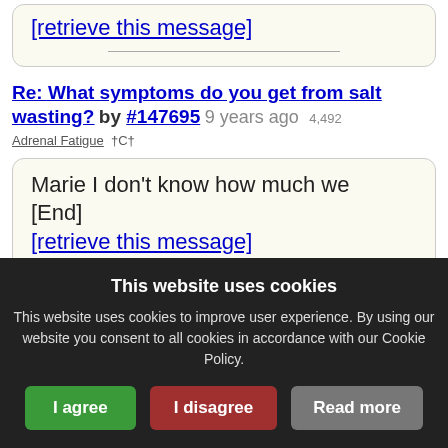[retrieve this message]
Re: What symptoms do you get from salt wasting? by #147695  9 years ago  4,492
Adrenal Fatigue  †C†
Marie I don't know how much we   [End]
[retrieve this message]
Re: Does anyone else feel MUCH worse when it's NEW... by #147695  9 years ago  3,423  Adrenal Fatigue  †C†
This website uses cookies
This website uses cookies to improve user experience. By using our website you consent to all cookies in accordance with our Cookie Policy.
I agree   I disagree   Read more